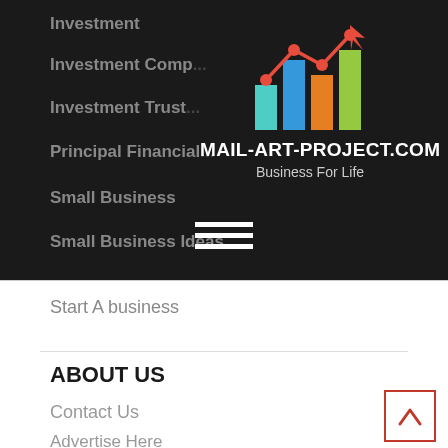[Figure (logo): Bar chart logo with line graph overlay and arrow, colored bars in teal, blue, orange, green]
MAIL-ART-PROJECT.COM
Business For Life
Investment
Investment Comp...
Investment Trust...
Principal Financial...
Small Business
Small Business Ideas
Start A business
ABOUT US
Contact Us
Advertise Here